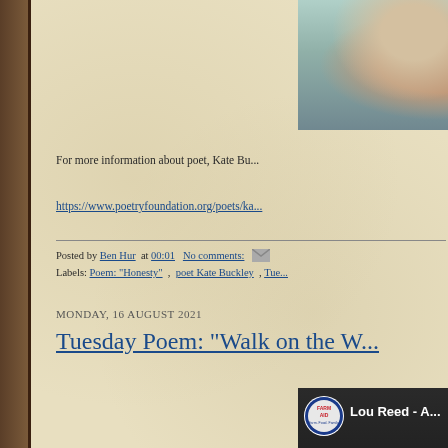[Figure (photo): Photo of a person holding a small dog, wearing teal/turquoise clothing with a white blanket or wrap, visible ring on hand. Top right portion of page.]
For more information about poet, Kate Bu...
https://www.poetryfoundation.org/poets/ka...
Posted by Ben Hur  at 00:01   No comments:    [email icon]
Labels: Poem: "Honesty"  ,  poet Kate Buckley  ,  Tue...
MONDAY, 16 AUGUST 2021
Tuesday Poem: "Walk on the W...
[Figure (screenshot): YouTube video thumbnail showing Farm Aid logo (circular with tractor and US flag) and text 'Lou Reed - A...' with a person's face visible below, dark background with red YouTube play bar at bottom right.]